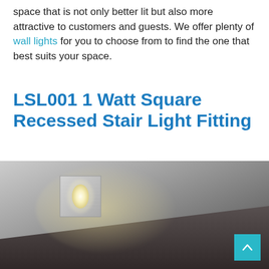space that is not only better lit but also more attractive to customers and guests. We offer plenty of wall lights for you to choose from to find the one that best suits your space.
LSL001 1 Watt Square Recessed Stair Light Fitting
[Figure (photo): A square recessed stair light fitting (LSL001) mounted in a wall above a staircase, emitting a warm white glow from an oval LED lens. The fitting has a brushed metal square faceplate. The staircase wall is grey and the image shows the light creating a gentle glow on the wall surface.]